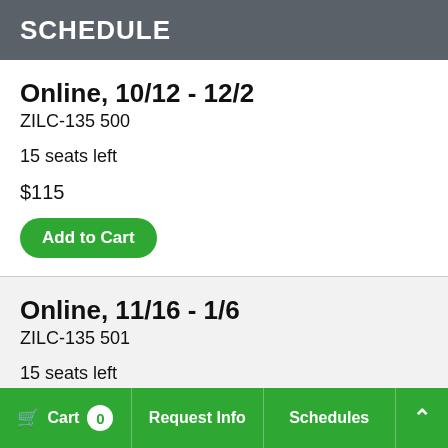SCHEDULE
Online, 10/12 - 12/2
ZILC-135 500
15 seats left
$115
Add to Cart
Online, 11/16 - 1/6
ZILC-135 501
15 seats left
Cart 0  Request Info  Schedules